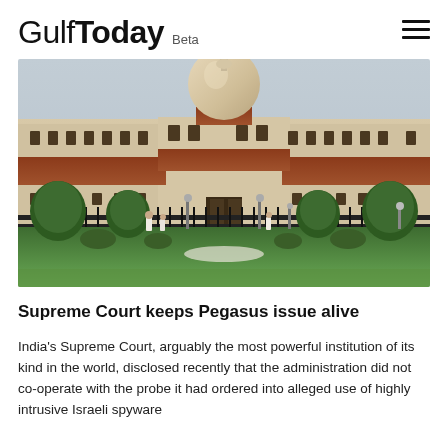Gulf Today Beta
[Figure (photo): Photograph of the Supreme Court of India building showing the iconic central dome with red brick banding, flanked by cream-coloured wings, iron fence in foreground, green lawns and topiary shrubs, people walking in front.]
Supreme Court keeps Pegasus issue alive
India's Supreme Court, arguably the most powerful institution of its kind in the world, disclosed recently that the administration did not co-operate with the probe it had ordered into alleged use of highly intrusive Israeli spyware